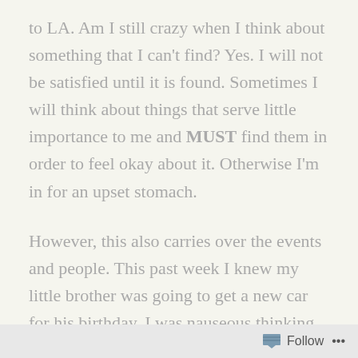to LA. Am I still crazy when I think about something that I can't find? Yes. I will not be satisfied until it is found. Sometimes I will think about things that serve little importance to me and MUST find them in order to feel okay about it. Otherwise I'm in for an upset stomach.
However, this also carries over the events and people. This past week I knew my little brother was going to get a new car for his birthday. I was nauseous thinking about him getting his surprise without me being there. I mean I feel this is a big deal and I'm missing out on it.
The coming weeks will be equally as tough. My
Follow